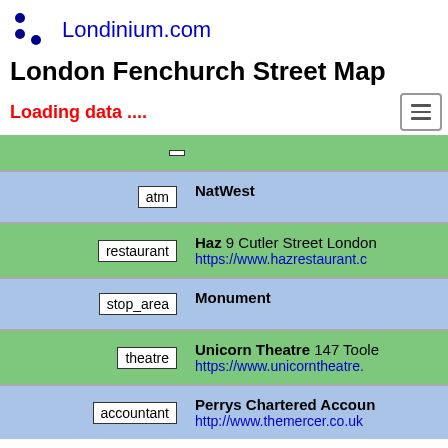Londinium.com
London Fenchurch Street Map
Loading data ....
| tag | info |
| --- | --- |
| atm | NatWest |
| restaurant | Haz 9 Cutler Street London https://www.hazrestaurant.c... |
| stop_area | Monument |
| theatre | Unicorn Theatre 147 Toole... https://www.unicorntheatre... |
| accountant | Perrys Chartered Accoun... http://www.themercer.co.uk... |